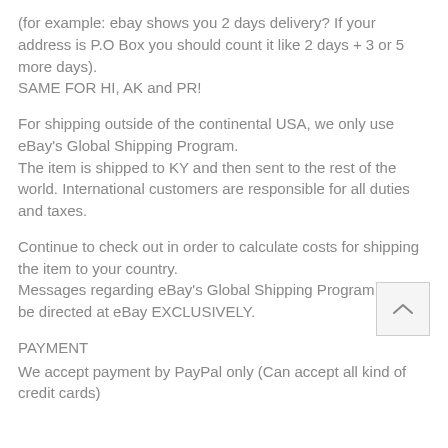(for example: ebay shows you 2 days delivery? If your address is P.O Box you should count it like 2 days + 3 or 5 more days).
SAME FOR HI, AK and PR!
For shipping outside of the continental USA, we only use eBay's Global Shipping Program.
The item is shipped to KY and then sent to the rest of the world. International customers are responsible for all duties and taxes.
Continue to check out in order to calculate costs for shipping the item to your country.
Messages regarding eBay's Global Shipping Program MUST be directed at eBay EXCLUSIVELY.
PAYMENT
We accept payment by PayPal only (Can accept all kind of credit cards)